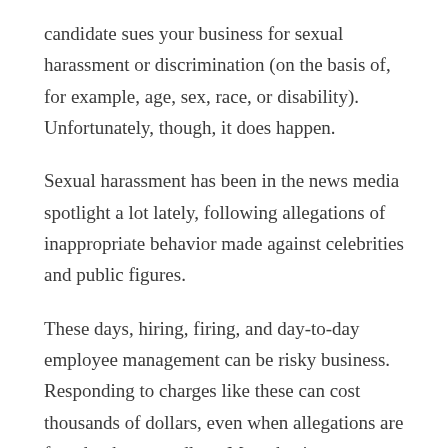candidate sues your business for sexual harassment or discrimination (on the basis of, for example, age, sex, race, or disability). Unfortunately, though, it does happen.
Sexual harassment has been in the news media spotlight a lot lately, following allegations of inappropriate behavior made against celebrities and public figures.
These days, hiring, firing, and day-to-day employee management can be risky business. Responding to charges like these can cost thousands of dollars, even when allegations are found to be groundless. Many business owners may not realize—or may realize too late